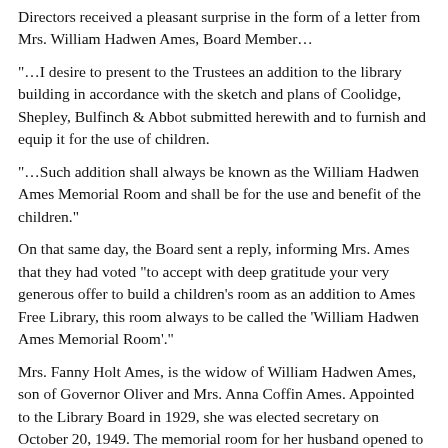Directors received a pleasant surprise in the form of a letter from Mrs. William Hadwen Ames, Board Member...
"...I desire to present to the Trustees an addition to the library building in accordance with the sketch and plans of Coolidge, Shepley, Bulfinch & Abbot submitted herewith and to furnish and equip it for the use of children.
"...Such addition shall always be known as the William Hadwen Ames Memorial Room and shall be for the use and benefit of the children."
On that same day, the Board sent a reply, informing Mrs. Ames that they had voted "to accept with deep gratitude your very generous offer to build a children's room as an addition to Ames Free Library, this room always to be called the 'William Hadwen Ames Memorial Room'."
Mrs. Fanny Holt Ames, is the widow of William Hadwen Ames, son of Governor Oliver and Mrs. Anna Coffin Ames. Appointed to the Library Board in 1929, she was elected secretary on October 20, 1949. The memorial room for her husband opened to the public November 10, 1931.